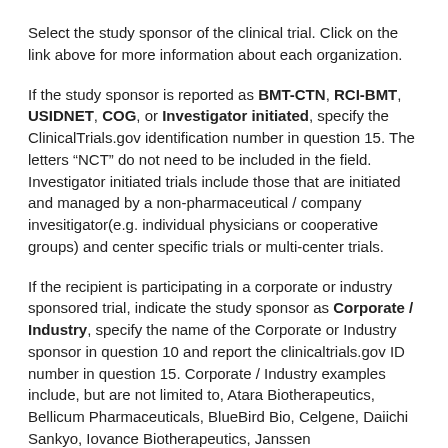Select the study sponsor of the clinical trial. Click on the link above for more information about each organization.
If the study sponsor is reported as BMT-CTN, RCI-BMT, USIDNET, COG, or Investigator initiated, specify the ClinicalTrials.gov identification number in question 15. The letters “NCT” do not need to be included in the field. Investigator initiated trials include those that are initiated and managed by a non-pharmaceutical / company invesitigator(e.g. individual physicians or cooperative groups) and center specific trials or multi-center trials.
If the recipient is participating in a corporate or industry sponsored trial, indicate the study sponsor as Corporate / Industry, specify the name of the Corporate or Industry sponsor in question 10 and report the clinicaltrials.gov ID number in question 15. Corporate / Industry examples include, but are not limited to, Atara Biotherapeutics, Bellicum Pharmaceuticals, BlueBird Bio, Celgene, Daiichi Sankyo, Iovance Biotherapeutics, Janssen Pharmaceuticals, Juno Therapeutics, Kite Pharma, Mesoblast, Miltenyi Biotec and